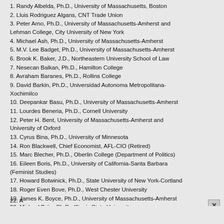1. Randy Albelda, Ph.D., University of Massachusetts, Boston
2. Lluis Rodriguez Algans, CNT Trade Union
3. Peter Arno, Ph.D., University of Massachusetts-Amherst and Lehman College, City University of New York
4. Michael Ash, Ph.D., University of Massachusetts-Amherst
5. M.V. Lee Badget, Ph.D., University of Massachusetts-Amherst
6. Brook K. Baker, J.D., Northeastern University School of Law
7. Nesecan Balkan, Ph.D., Hamilton College
8. Avraham Baranes, Ph.D., Rollins College
9. David Barkin, Ph.D., Universidad Autonoma Metropolitana-Xochimilco
10. Deepankar Basu, Ph.D., University of Massachusetts-Amherst
11. Lourdes Beneria, Ph.D., Cornell University
12. Peter H. Bent, University of Massachusetts-Amherst and University of Oxford
13. Cyrus Bina, Ph.D., University of Minnesota
14. Ron Blackwell, Chief Economist, AFL-CIO (Retired)
15. Marc Blecher, Ph.D., Oberlin College (Department of Politics)
16. Eileen Boris, Ph.D., University of California-Santa Barbara (Feminist Studies)
17. Howard Botwinick, Ph.D., State University of New York-Cortland
18. Roger Even Bove, Ph.D., West Chester University
19. James K. Boyce, Ph.D., University of Massachusetts-Amherst
20. Michael Brün, Ph.D., Illinois State University
21. Robert Buchele, Ph.D., Smith College
22. [partially visible]